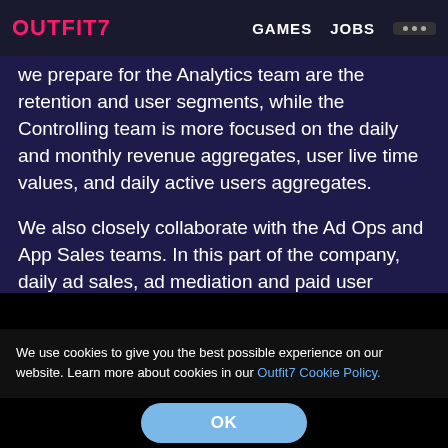OUTFIT7  GAMES  JOBS  ...
we prepare for the Analytics team are the retention and user segments, while the Controlling team is more focused on the daily and monthly revenue aggregates, user live time values, and daily active users aggregates.
We also closely collaborate with the Ad Ops and App Sales teams. In this part of the company, daily ad sales, ad mediation and paid user acquisition reports and aggregates need to be calculated. The data is then consumed and
We use cookies to give you the best possible experience on our website. Learn more about cookies in our Outfit7 Cookie Policy.
OK